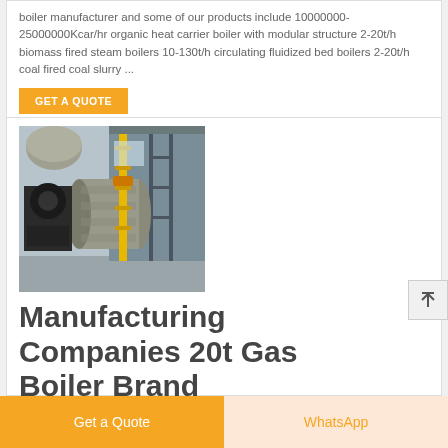boiler manufacturer and some of our products include 10000000-25000000Kcar/hr organic heat carrier boiler with modular structure 2-20t/h biomass fired steam boilers 10-130t/h circulating fluidized bed boilers 2-20t/h coal fired coal slurry ...
GET A QUOTE
[Figure (photo): Industrial gas boiler equipment in a manufacturing facility, showing large cylindrical boiler with yellow piping and black components]
Manufacturing Companies 20t Gas Boiler Brand
Get a Quote
WhatsApp